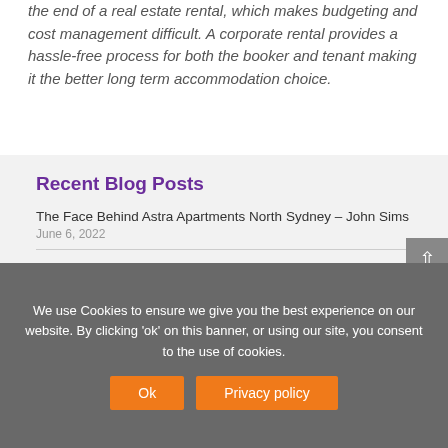the end of a real estate rental, which makes budgeting and cost management difficult. A corporate rental provides a hassle-free process for both the booker and tenant making it the better long term accommodation choice.
Recent Blog Posts
The Face Behind Astra Apartments North Sydney – John Sims
June 6, 2022
Sustainability in Business Travel: Reducing Food Waste
April 20, 2022
Cautious About Booking Corporate Travel? 4 Ways To Help Regain Confidence
We use Cookies to ensure we give you the best experience on our website. By clicking 'ok' on this banner, or using our site, you consent to the use of cookies.